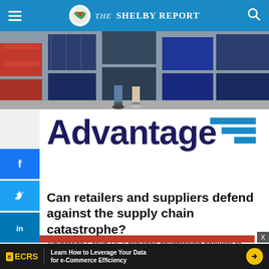The Shelby Report
[Figure (photo): Two people walking among large stacked shipping containers at a port/logistics facility]
[Figure (logo): Advantage logo in dark navy blue bold text with blue horizontal bars graphic element to the right]
Can retailers and suppliers defend against the supply chain catastrophe?
Advantage Group USA provides enlightening answers to questions regarding how the supply chain crisis should be approached.
[Figure (other): ECRS advertisement banner: Learn How to Leverage Your Data for e-Commerce Efficiency]